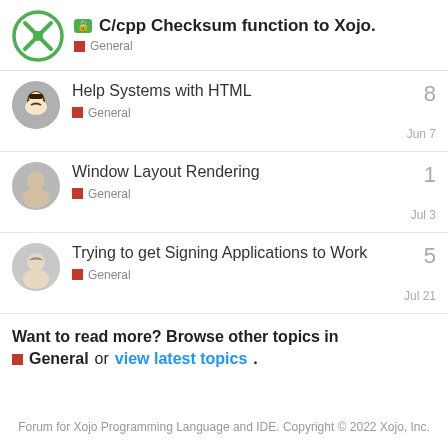🔒 C/cpp Checksum function to Xojo. — General
Help Systems with HTML — General — 8 replies — Jun 7
Window Layout Rendering — General — 1 reply — Jul 3
Trying to get Signing Applications to Work — General — 5 replies — Jul 21
Want to read more? Browse other topics in General or view latest topics.
Forum for Xojo Programming Language and IDE. Copyright © 2022 Xojo, Inc.